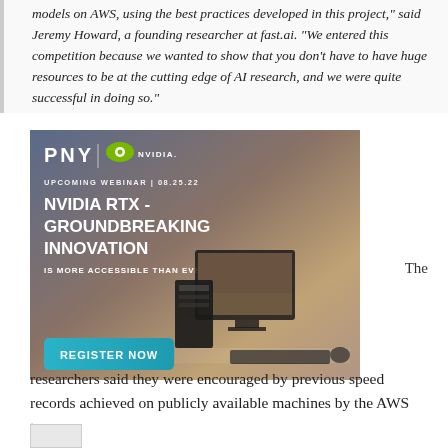models on AWS, using the best practices developed in this project," said Jeremy Howard, a founding researcher at fast.ai. "We entered this competition because we wanted to show that you don't have to have huge resources to be at the cutting edge of AI research, and we were quite successful in doing so."
[Figure (infographic): PNY and NVIDIA advertisement banner for an upcoming webinar on 08.25.22. Title: NVIDIA RTX - GROUNDBREAKING INNOVATION IS MORE ACCESSIBLE THAN EVER. Shows a computer workstation with monitors and a 'REGISTER NOW' button.]
The researchers said they were encouraged by previous speed records achieved on publicly available machines by the AWS team.